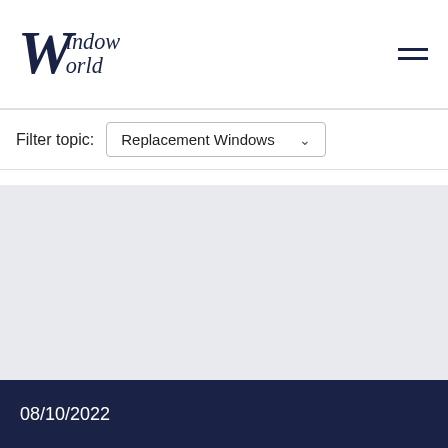Window World
Filter topic: Replacement Windows
[Figure (photo): Gray placeholder image area for a blog or article thumbnail]
08/10/2022